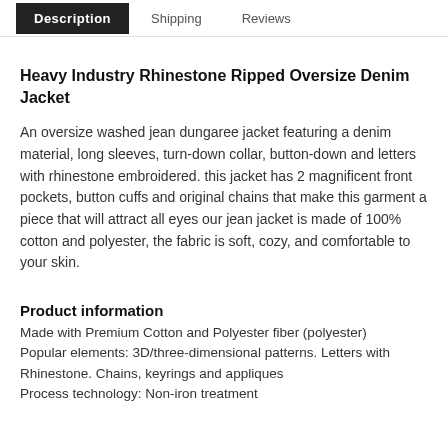Description | Shipping | Reviews
Heavy Industry Rhinestone Ripped Oversize Denim Jacket
An oversize washed jean dungaree jacket featuring a denim material, long sleeves, turn-down collar, button-down and letters with rhinestone embroidered. this jacket has 2 magnificent front pockets, button cuffs and original chains that make this garment a piece that will attract all eyes our jean jacket is made of 100% cotton and polyester, the fabric is soft, cozy, and comfortable to your skin.
Product information
Made with Premium Cotton and Polyester fiber (polyester)
Popular elements: 3D/three-dimensional patterns. Letters with Rhinestone. Chains, keyrings and appliques
Process technology: Non-iron treatment